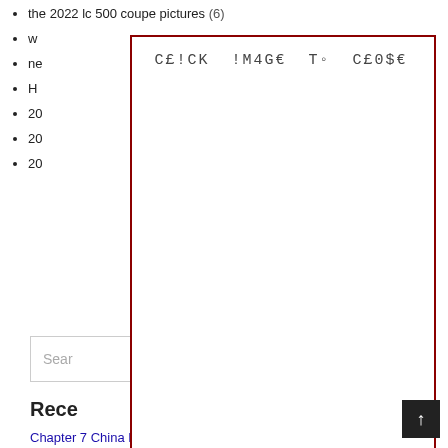the 2022 lc 500 coupe pictures (6)
w
ne
H
20
20
20
[Figure (other): Overlay box with text 'CE!CK !M4GE TO CE0$E' in monospace font, dark red border, covering most of the page]
Search
Rece
Chapter 7 China Builds An Empire Crossword Puzzle Answers